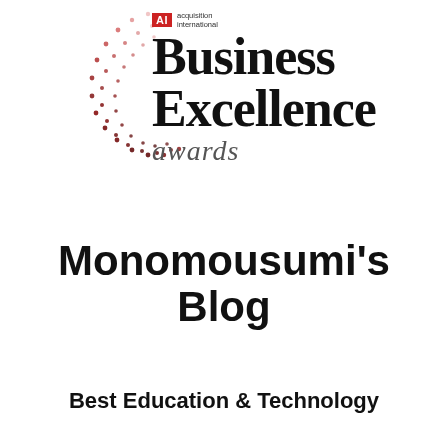[Figure (logo): Acquisition International Business Excellence Awards logo with decorative red dot arc pattern and AI badge]
Monomousumi's Blog
Best Education & Technology